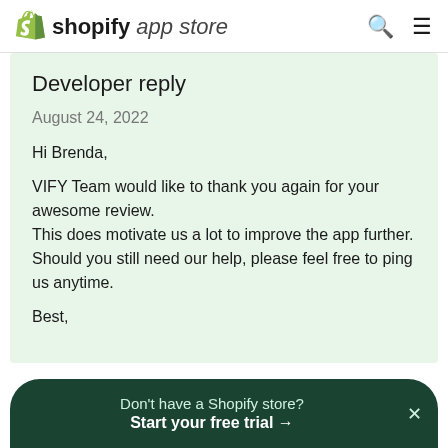shopify app store
Developer reply
August 24, 2022
Hi Brenda,

VIFY Team would like to thank you again for your awesome review.
This does motivate us a lot to improve the app further.
Should you still need our help, please feel free to ping us anytime.

Best,
Don't have a Shopify store? Start your free trial →